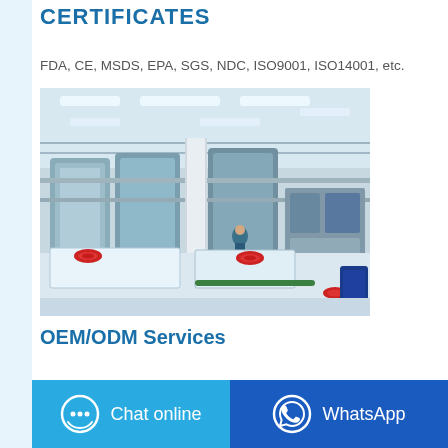CERTIFICATES
FDA, CE, MSDS, EPA, SGS, NDC, ISO9001, ISO14001, etc.
[Figure (photo): Interior of a large industrial manufacturing facility with stainless steel tanks, piping, conveyor equipment, fluorescent lighting, and white IBC tote containers with red caps in the foreground.]
OEM/ODM Services
Chat online
WhatsApp